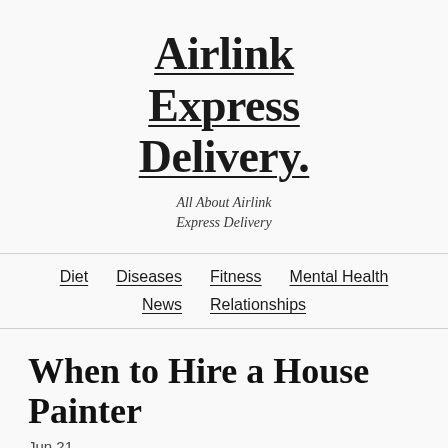Airlink Express Delivery.
All About Airlink Express Delivery
Diet   Diseases   Fitness   Mental Health   News   Relationships
When to Hire a House Painter
Jun 21